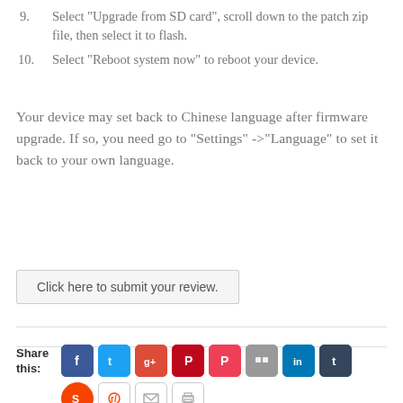9. Select “Upgrade from SD card”, scroll down to the patch zip file, then select it to flash.
10. Select “Reboot system now” to reboot your device.
Your device may set back to Chinese language after firmware upgrade. If so, you need go to “Settings” ->“Language” to set it back to your own language.
Click here to submit your review.
[Figure (infographic): Social media share buttons row 1: Facebook, Twitter, Google+, Pinterest, Pocket, Virally, LinkedIn, Tumblr; row 2: StumbleUpon, Reddit, Email, Print]